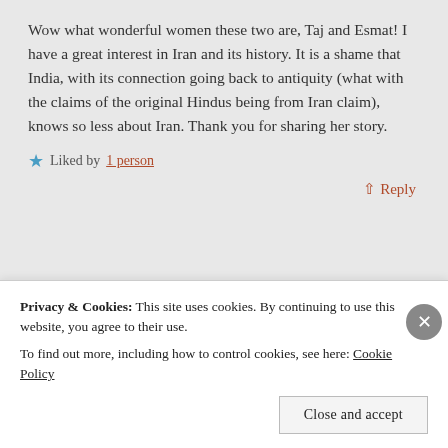Wow what wonderful women these two are, Taj and Esmat! I have a great interest in Iran and its history. It is a shame that India, with its connection going back to antiquity (what with the claims of the original Hindus being from Iran claim), knows so less about Iran. Thank you for sharing her story.
Liked by 1 person
↑ Reply
Cathy Clark
Privacy & Cookies: This site uses cookies. By continuing to use this website, you agree to their use.
To find out more, including how to control cookies, see here: Cookie Policy
Close and accept